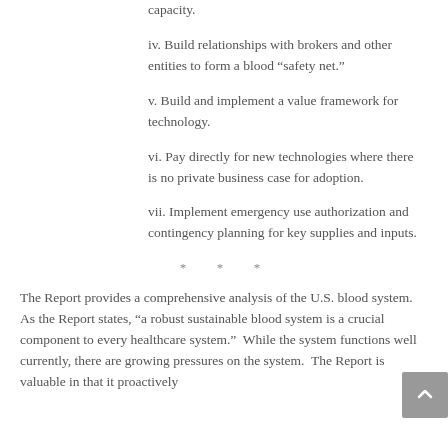capacity.
iv. Build relationships with brokers and other entities to form a blood “safety net.”
v. Build and implement a value framework for technology.
vi. Pay directly for new technologies where there is no private business case for adoption.
vii. Implement emergency use authorization and contingency planning for key supplies and inputs.
* * *
The Report provides a comprehensive analysis of the U.S. blood system. As the Report states, “a robust sustainable blood system is a crucial component to every healthcare system.”  While the system functions well currently, there are growing pressures on the system.  The Report is valuable in that it proactively